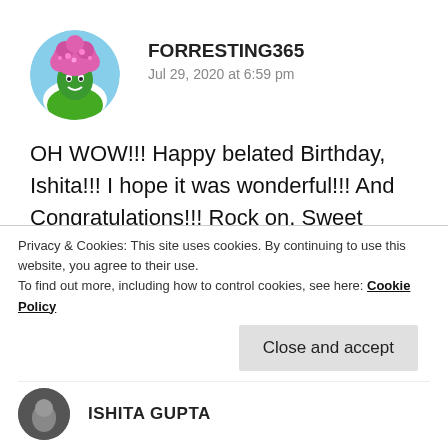[Figure (photo): Circular avatar image of FORRESTING365 — illustrated figure with a pink afro, green face, on a colorful background]
FORRESTING365
Jul 29, 2020 at 6:59 pm
OH WOW!!! Happy belated Birthday, Ishita!!! I hope it was wonderful!!! And Congratulations!!! Rock on, Sweet friend!!! 🤗❤️😊
★ Liked by 1 person
Privacy & Cookies: This site uses cookies. By continuing to use this website, you agree to their use.
To find out more, including how to control cookies, see here: Cookie Policy
Close and accept
ISHITA GUPTA